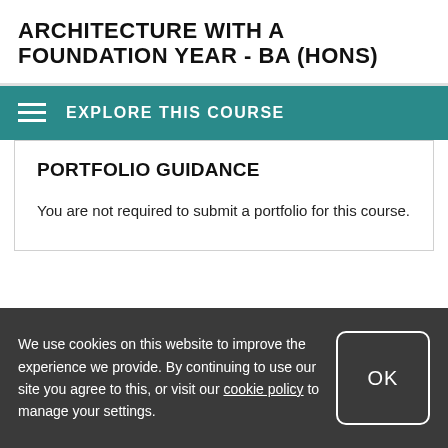ARCHITECTURE WITH A FOUNDATION YEAR - BA (HONS)
EXPLORE THIS COURSE
PORTFOLIO GUIDANCE
You are not required to submit a portfolio for this course.
We use cookies on this website to improve the experience we provide. By continuing to use our site you agree to this, or visit our cookie policy to manage your settings.